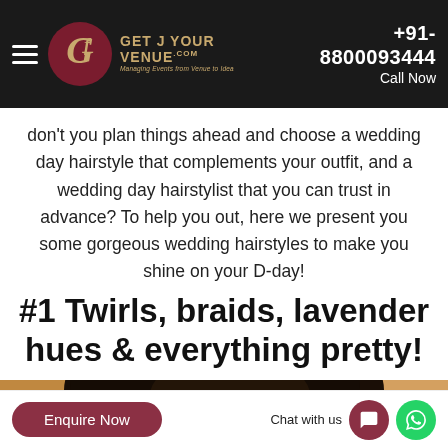+91-8800093444  Call Now  GET YOUR VENUE .COM  Managing Events from Venue to Idea
don't you plan things ahead and choose a wedding day hairstyle that complements your outfit, and a wedding day hairstylist that you can trust in advance? To help you out, here we present you some gorgeous wedding hairstyles to make you shine on your D-day!
#1 Twirls, braids, lavender hues & everything pretty!
[Figure (photo): Close-up photo of back of head with dark hair styled up, hair accessories visible, warm background]
Enquire Now   Chat with us